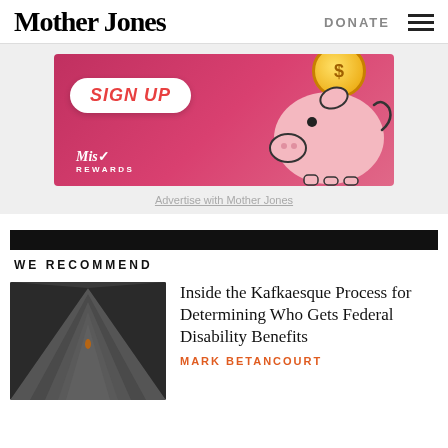Mother Jones | DONATE
[Figure (illustration): Advertisement banner with pink background showing a piggy bank illustration, a gold coin, a 'SIGN UP' button in white pill shape with red text, and 'Mist Rewards' logo in white.]
Advertise with Mother Jones
WE RECOMMEND
[Figure (photo): Dark tunnel or stairwell perspective photo with a small figure visible at the end, dimly lit with converging lines.]
Inside the Kafkaesque Process for Determining Who Gets Federal Disability Benefits
MARK BETANCOURT